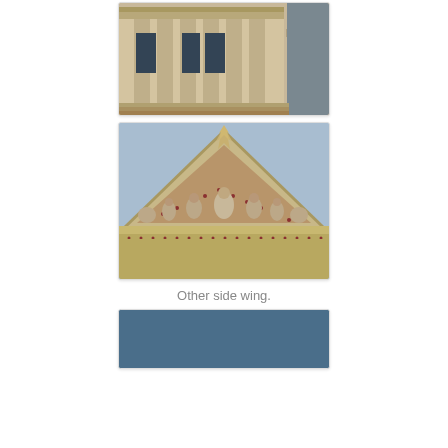[Figure (photo): Photograph of a neoclassical building facade with large columns and tall windows, a decorative pillar visible at right]
[Figure (photo): Photograph of a classical pediment with sculptural relief frieze showing multiple figures and a decorative acroterion at the apex]
Other side wing.
[Figure (photo): Photograph showing a blue sky, partially cropped at bottom of page]